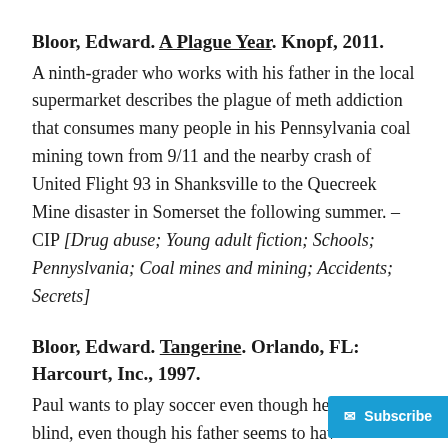Bloor, Edward. A Plague Year. Knopf, 2011. A ninth-grader who works with his father in the local supermarket describes the plague of meth addiction that consumes many people in his Pennsylvania coal mining town from 9/11 and the nearby crash of United Flight 93 in Shanksville to the Quecreek Mine disaster in Somerset the following summer. – CIP [Drug abuse; Young adult fiction; Schools; Pennyslvania; Coal mines and mining; Accidents; Secrets]
Bloor, Edward. Tangerine. Orlando, FL: Harcourt, Inc., 1997. Paul wants to play soccer even though he is nearly blind, even though his father seems to hav…